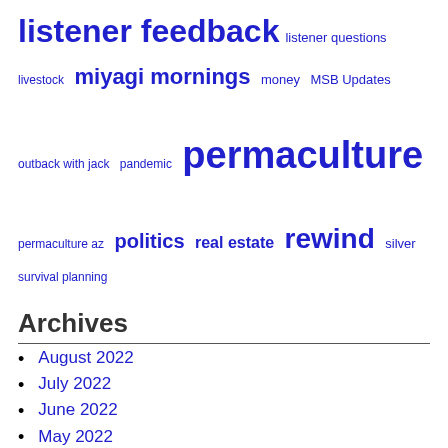listener feedback  listener questions  livestock  miyagi mornings  money  MSB Updates  outback with jack  pandemic  permaculture  permaculture az  politics  real estate  rewind  silver  survival planning
Archives
August 2022
July 2022
June 2022
May 2022
April 2022
March 2022
February 2022
January 2022
December 2021
November 2021
October 2021
September 2021
August 2021